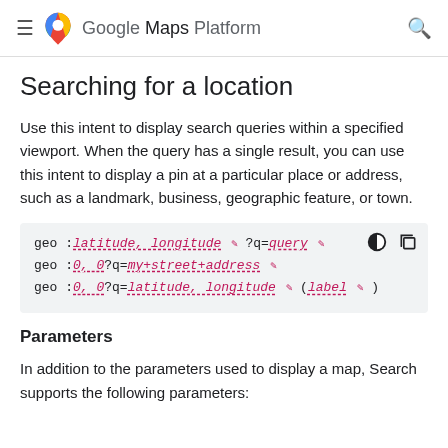Google Maps Platform
Searching for a location
Use this intent to display search queries within a specified viewport. When the query has a single result, you can use this intent to display a pin at a particular place or address, such as a landmark, business, geographic feature, or town.
[Figure (screenshot): Code block showing geo URI schemes: geo:latitude,longitude?q=query, geo:0,0?q=my+street+address, geo:0,0?q=latitude,longitude (label)]
Parameters
In addition to the parameters used to display a map, Search supports the following parameters: